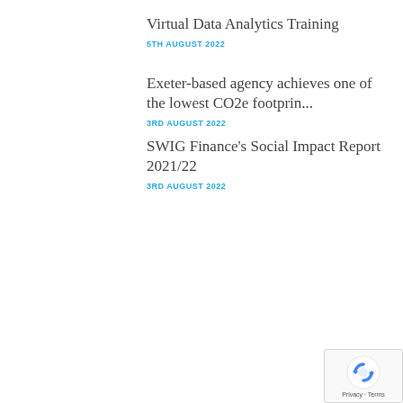Virtual Data Analytics Training
5TH AUGUST 2022
Exeter-based agency achieves one of the lowest CO2e footprin...
3RD AUGUST 2022
SWIG Finance's Social Impact Report 2021/22
3RD AUGUST 2022
[Figure (logo): reCAPTCHA logo with Privacy and Terms text]